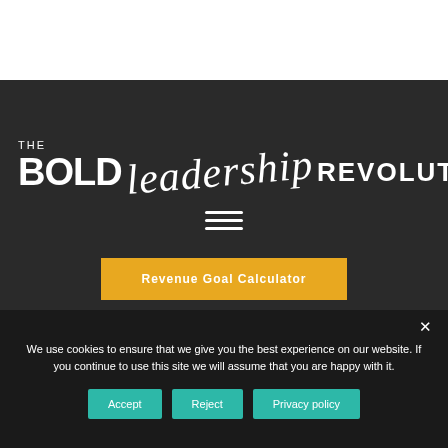[Figure (logo): The Bold Leadership Revolution logo — dark background with 'THE' small text, 'BOLD' large bold sans-serif, 'leadership' in italic script, 'REVOLUTION' in bold sans-serif, all white on dark charcoal background]
[Figure (infographic): Hamburger menu icon — three white horizontal lines centered on dark background]
Revenue Goal Calculator
We use cookies to ensure that we give you the best experience on our website. If you continue to use this site we will assume that you are happy with it.
Accept
Reject
Privacy policy